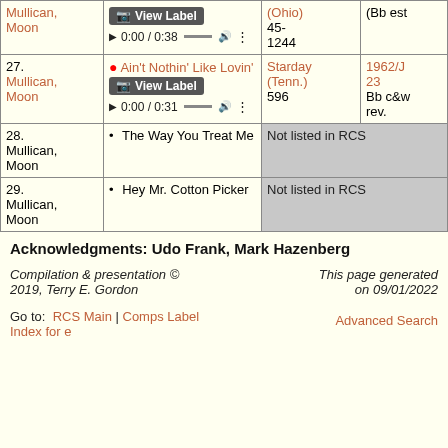| Artist | Song | Label | Info |
| --- | --- | --- | --- |
| Mullican, Moon | • [song title cut off] / View Label / 0:00 / 0:38 | (Ohio) 45-1244 | (Bb est |
| 27. Mullican, Moon | • Ain't Nothin' Like Lovin' / View Label / 0:00 / 0:31 | Starday (Tenn.) 596 | 1962/J 23 Bb c&w rev. |
| 28. Mullican, Moon | • The Way You Treat Me | Not listed in RCS |  |
| 29. Mullican, Moon | • Hey Mr. Cotton Picker | Not listed in RCS |  |
Acknowledgments:  Udo Frank, Mark Hazenberg
Compilation & presentation © 2019, Terry E. Gordon
This page generated on 09/01/2022
Go to:  RCS Main | Comps Label Index for e
Advanced Search